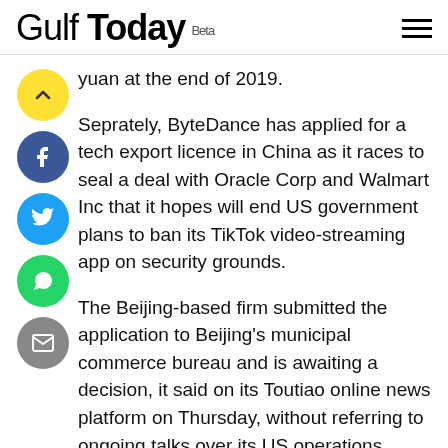Gulf Today Beta
yuan at the end of 2019.
Seprately, ByteDance has applied for a tech export licence in China as it races to seal a deal with Oracle Corp and Walmart Inc that it hopes will end US government plans to ban its TikTok video-streaming app on security grounds.
The Beijing-based firm submitted the application to Beijing's municipal commerce bureau and is awaiting a decision, it said on its Toutiao online news platform on Thursday, without referring to ongoing talks over its US operations.
The application comes about a month after